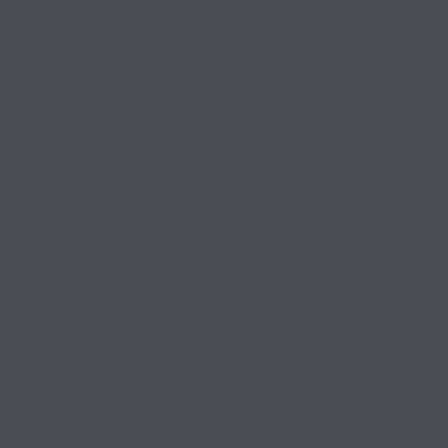<a href= https://images.google.com sa=t&url=https://vk.com/aliexpres РlРε</a>| <a href= https://images.google.co sa=t&url=https://vk.com/aliexpres Р°РРёСКРεСГРiСЪРСГСГ</a>| <a href= https://images.google.kg sa=t&url=https://vk.com/aliexpres Р°РРёСКРεСГРiСЪРСГСГ</a>|
WilliamJaf 2021/10/13 01:03 https://images.google.com.bz/url? <a href= https://images.google.co sa=t&url=https://xgalakts.ru/login. РεРsСГРjРёС‡РСГРεР°СЦ СГС <a href= https://images.google.co sa=t&url=https://vk.com/igry_stra СГСССЪРСРРiРёРё РSР° РiРε <a href= https://images.google.co sa=t&url=https://xgalakts.ru/login. РεРsСГРjРёС‡РСГРεРёР СГС <a href= https://maps.google.com